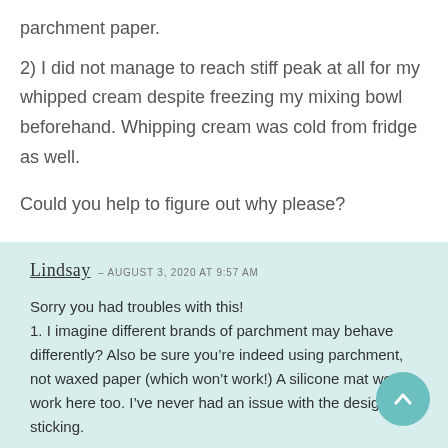parchment paper.
2) I did not manage to reach stiff peak at all for my whipped cream despite freezing my mixing bowl beforehand. Whipping cream was cold from fridge as well.
Could you help to figure out why please?
Lindsay — AUGUST 3, 2020 at 9:57 AM
Sorry you had troubles with this!
1. I imagine different brands of parchment may behave differently? Also be sure you're indeed using parchment, not waxed paper (which won't work!) A silicone mat would work here too. I've never had an issue with the design sticking.